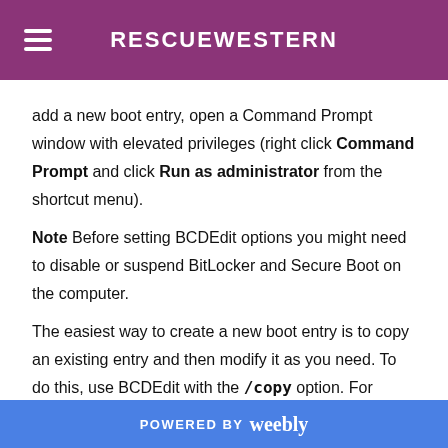RESCUEWESTERN
add a new boot entry, open a Command Prompt window with elevated privileges (right click Command Prompt and click Run as administrator from the shortcut menu).
Note Before setting BCDEdit options you might need to disable or suspend BitLocker and Secure Boot on the computer.
The easiest way to create a new boot entry is to copy an existing entry and then modify it as you need. To do this, use BCDEdit with the /copy option. For example, in the following command, BCDEdit copies the Microsoft Windows boot entry that was last used to boot Windows, identified as {current},
POWERED BY weebly